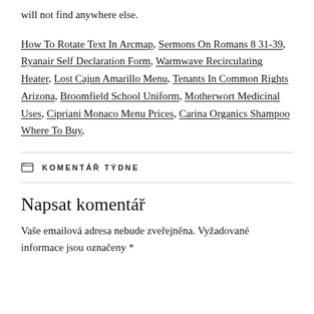will not find anywhere else.
How To Rotate Text In Arcmap, Sermons On Romans 8 31-39, Ryanair Self Declaration Form, Warmwave Recirculating Heater, Lost Cajun Amarillo Menu, Tenants In Common Rights Arizona, Broomfield School Uniform, Motherwort Medicinal Uses, Cipriani Monaco Menu Prices, Carina Organics Shampoo Where To Buy,
KOMENTÁŘ TÝDNE
Napsat komentář
Vaše emailová adresa nebude zveřejněna. Vyžadované informace jsou označeny *